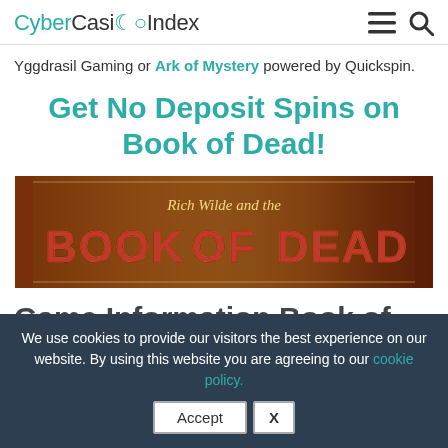CyberCasinoIndex
Yggdrasil Gaming or Ark of Mystery powered by Quickspin.
Get No Deposit Spins on Book of Dead!
[Figure (illustration): Rich Wilde and the Book of Dead game banner with golden and dark-red themed background]
Game Information Book of
We use cookies to provide our visitors the best experience on our website. By using this website you are agreeing to our cookie policy.